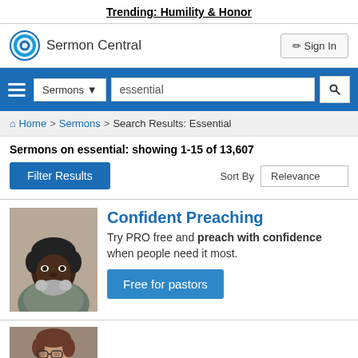Trending: Humility & Honor
[Figure (logo): Sermon Central logo with circular icon and text]
Sign In
[Figure (screenshot): Search bar with Sermons dropdown and 'essential' query]
Home > Sermons > Search Results: Essential
Sermons on essential: showing 1-15 of 13,607
Filter Results
Sort By Relevance
[Figure (photo): Photo of a smiling Black man with grey beard]
Confident Preaching
Try PRO free and preach with confidence when people need it most.
Free for pastors
[Figure (photo): Photo of a man with glasses, partially visible]